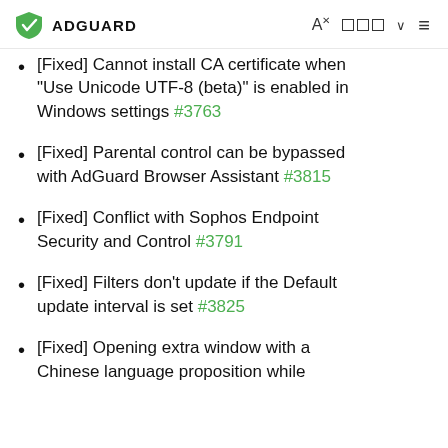ADGUARD
[Fixed] Cannot install CA certificate when "Use Unicode UTF-8 (beta)" is enabled in Windows settings #3763
[Fixed] Parental control can be bypassed with AdGuard Browser Assistant #3815
[Fixed] Conflict with Sophos Endpoint Security and Control #3791
[Fixed] Filters don't update if the Default update interval is set #3825
[Fixed] Opening extra window with a Chinese language proposition while